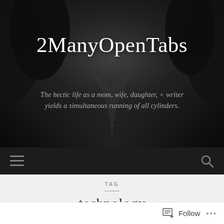[Figure (screenshot): Dark monochrome photo of a road/path through trees, used as blog header background]
2ManyOpenTabs
The hectic life as a mom, wife, daughter, + writer yields a simultaneous running of all cylinders.
[Figure (other): Navigation bar with hamburger menu icon on left and search icon on right, dark background]
TAG
technology
[Figure (screenshot): Partial article card with cut-off title text beginning with 'S']
Follow ...